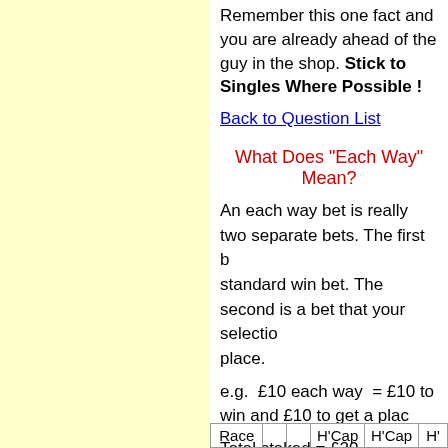Remember this one fact and you are already ahead of the guy in the shop. Stick to Singles Where Possible !
Back to Question List
What Does "Each Way" Mean?
An each way bet is really two separate bets. The first b... standard win bet. The second is a bet that your selection... place.
e.g.  £10 each way  = £10 to win and £10 to get a place
Total staked = £20
Obviously a horse is much more likely just to get a place than win. The place section of the bet is therefore paid out at reduced odds. These are normally either 1/5 or 1/4 of the win odds.
The number of places available and the place payout factor are determined by two criteria. These being the type of race and secondly the number of runners in the race. See the table...
| Race |  |  | H'Cap | H'Cap | H' |
| --- | --- | --- | --- | --- | --- |
| Race |  |  | H'Cap | H'Cap | H' |